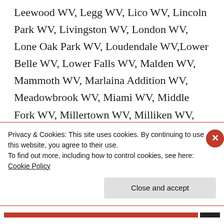Leewood WV, Legg WV, Lico WV, Lincoln Park WV, Livingston WV, London WV, Lone Oak Park WV, Loudendale WV,Lower Belle WV, Lower Falls WV, Malden WV, Mammoth WV, Marlaina Addition WV, Meadowbrook WV, Miami WV, Middle Fork WV, Millertown WV, Milliken WV, Monarch WV, Nuckolls WV, Odell WV, Ohley WV,
Privacy & Cookies: This site uses cookies. By continuing to use this website, you agree to their use.
To find out more, including how to control cookies, see here: Cookie Policy